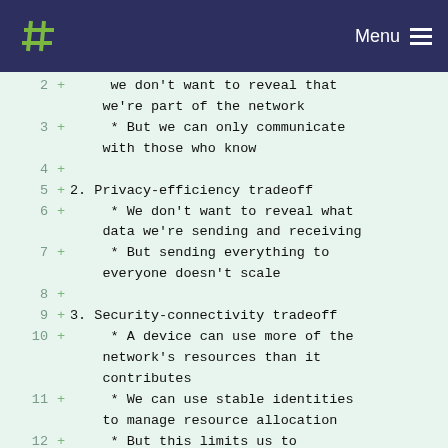Menu
2  +      we don't want to reveal that we're part of the network
3  +      * But we can only communicate with those who know
4  +
5  + 2. Privacy-efficiency tradeoff
6  +      * We don't want to reveal what data we're sending and receiving
7  +      * But sending everything to everyone doesn't scale
8  +
9  + 3. Security-connectivity tradeoff
10 +      * A device can use more of the network's resources than it contributes
11 +      * We can use stable identities to manage resource allocation
12 +      * But this limits us to exchanging data with known identities
13 +